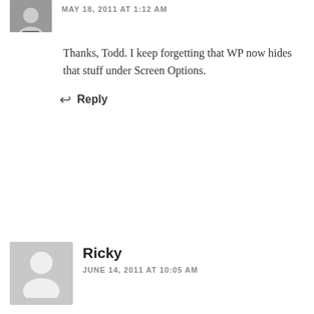MAY 18, 2011 AT 1:12 AM
Thanks, Todd. I keep forgetting that WP now hides that stuff under Screen Options.
↩ Reply
Ricky
JUNE 14, 2011 AT 10:05 AM
Thanks! Simple and Clean theme!
↩ Reply
Pingback: Responsive TwentyTen | Sharing with Notes